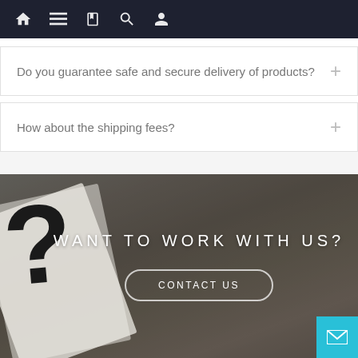Navigation bar with home, menu, book, search, and profile icons
Do you guarantee safe and secure delivery of products?
How about the shipping fees?
[Figure (photo): Background photo of a question mark card on a wooden table, overlaid with the text WANT TO WORK WITH US? and a CONTACT US button]
WANT TO WORK WITH US?
CONTACT US